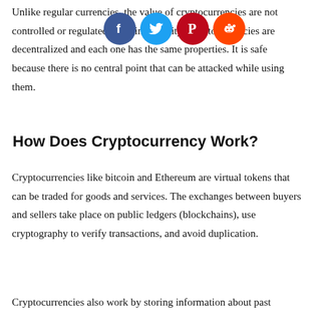Unlike regular currencies, the value of cryptocurrencies are not controlled or regulated by a single entity. Cryptocurrencies are decentralized and each one has the same properties. It is safe because there is no central point that can be attacked while using them.
[Figure (infographic): Four social media share buttons in a horizontal row: Facebook (blue circle with f), Twitter (light blue circle with bird), Pinterest (red circle with P), Reddit (orange circle with alien mascot)]
How Does Cryptocurrency Work?
Cryptocurrencies like bitcoin and Ethereum are virtual tokens that can be traded for goods and services. The exchanges between buyers and sellers take place on public ledgers (blockchains), use cryptography to verify transactions, and avoid duplication.
Cryptocurrencies also work by storing information about past transactions in a time-stamped ledger